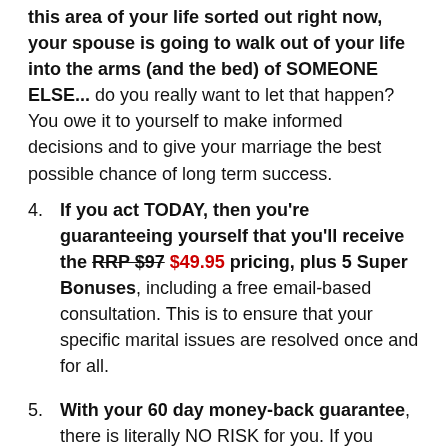this area of your life sorted out right now, your spouse is going to walk out of your life into the arms (and the bed) of SOMEONE ELSE... do you really want to let that happen? You owe it to yourself to make informed decisions and to give your marriage the best possible chance of long term success.
4. If you act TODAY, then you're guaranteeing yourself that you'll receive the RRP $97 $49.95 pricing, plus 5 Super Bonuses, including a free email-based consultation. This is to ensure that your specific marital issues are resolved once and for all.
5. With your 60 day money-back guarantee, there is literally NO RISK for you. If you aren't satisfied for ANY reason, or it doesn't live up to your expectations, just send me an email and I will